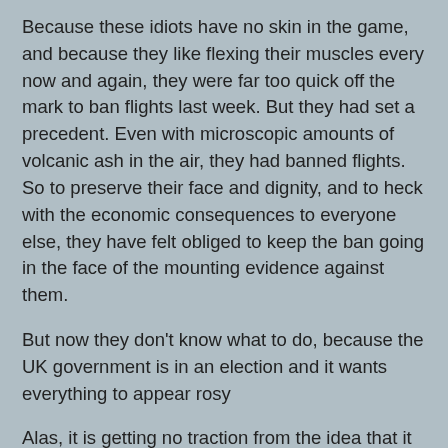Because these idiots have no skin in the game, and because they like flexing their muscles every now and again, they were far too quick off the mark to ban flights last week. But they had set a precedent. Even with microscopic amounts of volcanic ash in the air, they had banned flights. So to preserve their face and dignity, and to heck with the economic consequences to everyone else, they have felt obliged to keep the ban going in the face of the mounting evidence against them.
But now they don't know what to do, because the UK government is in an election and it wants everything to appear rosy
Alas, it is getting no traction from the idea that it is managing another Dunkirk or another Falklands war. It is now also perceived by most sensible people that the regulators over-reacted and that the ban should be lifted. Government ministers, who can also see a huge loss in tax revenue and economic blight, are even making stuff up about 'massively falling' levels of ash, when the true picture is that the ash levels are about the same as they were last week (i.e.